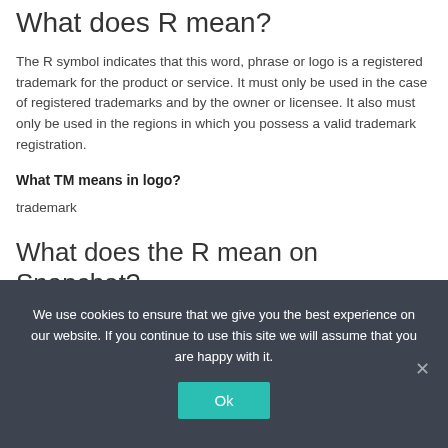What does R mean?
The R symbol indicates that this word, phrase or logo is a registered trademark for the product or service. It must only be used in the case of registered trademarks and by the owner or licensee. It also must only be used in the regions in which you possess a valid trademark registration.
What TM means in logo?
trademark
What does the R mean on Snapchat?
Streaks and Recents
We use cookies to ensure that we give you the best experience on our website. If you continue to use this site we will assume that you are happy with it.